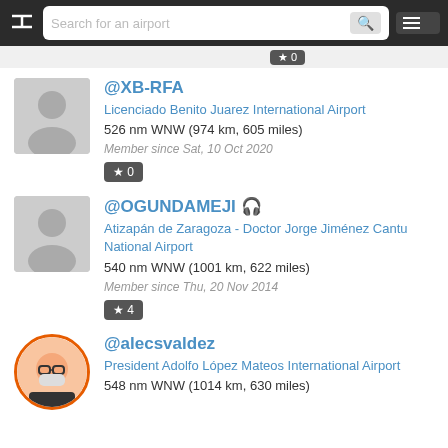Search for an airport
@XB-RFA | Licenciado Benito Juarez International Airport | 526 nm WNW (974 km, 605 miles) | Member since Sat, 10 Oct 2020 | ★ 0
@OGUNDAMEJI | Atizapán de Zaragoza - Doctor Jorge Jiménez Cantu National Airport | 540 nm WNW (1001 km, 622 miles) | Member since Thu, 20 Nov 2014 | ★ 4
@alecsvaldez | President Adolfo López Mateos International Airport | 548 nm WNW (1014 km, 630 miles)